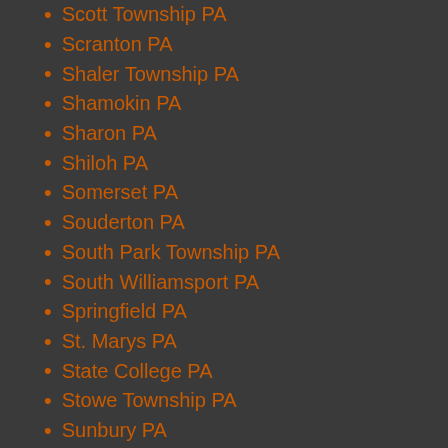Scott Township PA
Scranton PA
Shaler Township PA
Shamokin PA
Sharon PA
Shiloh PA
Somerset PA
Souderton PA
South Park Township PA
South Williamsport PA
Springfield PA
St. Marys PA
State College PA
Stowe Township PA
Sunbury PA
Swarthmore PA
Swissvale PA
T – V
Tamaqua PA
Taylor PA
Uniontown PA
Upper Providence Township PA